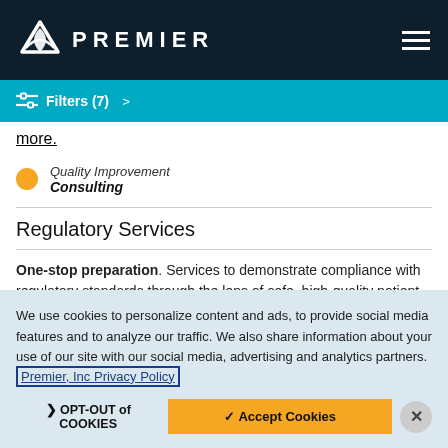PREMIER
Filters (7) >
more.
Quality Improvement
Consulting
Regulatory Services
One-stop preparation. Services to demonstrate compliance with regulatory standards through the lens of safe, high-quality patient
We use cookies to personalize content and ads, to provide social media features and to analyze our traffic. We also share information about your use of our site with our social media, advertising and analytics partners. Premier, Inc Privacy Policy
OPT-OUT of COOKIES
Accept Cookies